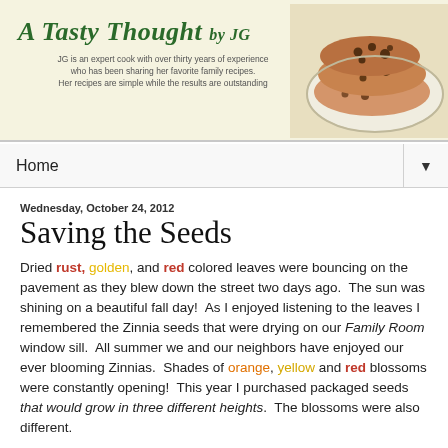[Figure (illustration): Blog header banner for 'A Tasty Thought by JG' with cursive green title text, subtitle text, and a photo of chocolate chip pancakes on a plate on the right side. Background is light cream/yellow.]
Home ▼
Wednesday, October 24, 2012
Saving the Seeds
Dried rust, golden, and red colored leaves were bouncing on the pavement as they blew down the street two days ago.  The sun was shining on a beautiful fall day!  As I enjoyed listening to the leaves I remembered the Zinnia seeds that were drying on our Family Room window sill.  All summer we and our neighbors have enjoyed our ever blooming Zinnias.  Shades of orange, yellow and red blossoms were constantly opening!  This year I purchased packaged seeds that would grow in three different heights.  The blossoms were also different.